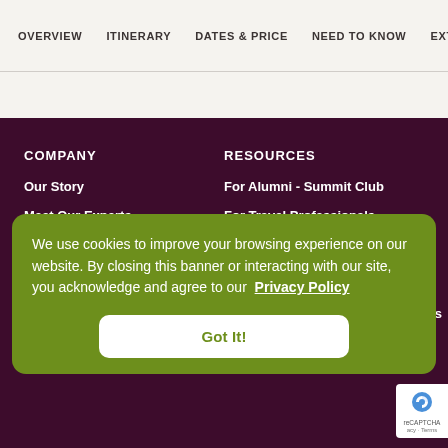OVERVIEW  ITINERARY  DATES & PRICE  NEED TO KNOW  EXTE…
COMPANY
Our Story
Meet Our Experts
RESOURCES
For Alumni - Summit Club
For Travel Professionals
We use cookies to improve your browsing experience on our website. By closing this banner or interacting with our site, you acknowledge and agree to our Privacy Policy
Got It!